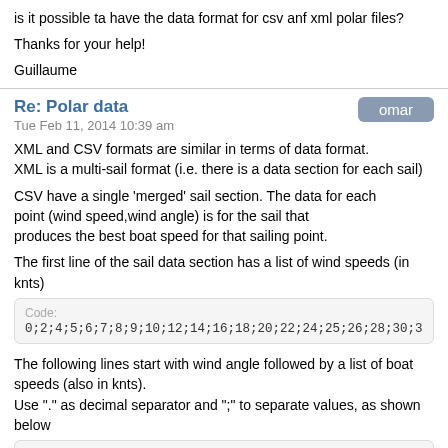is it possible ta have the data format for csv anf xml polar files?

Thanks for your help!

Guillaume
Re: Polar data
Tue Feb 11, 2014 10:39 am
omar
XML and CSV formats are similar in terms of data format.
XML is a multi-sail format (i.e. there is a data section for each sail)
CSV have a single 'merged' sail section. The data for each point (wind speed,wind angle) is for the sail that produces the best boat speed for that sailing point.
The first line of the sail data section has a list of wind speeds (in knts)
[Figure (screenshot): Code block showing: Code:
0;2;4;5;6;7;8;9;10;12;14;16;18;20;22;24;25;26;28;30;32;34;36;38;]
The following lines start with wind angle followed by a list of boat speeds (also in knts).
Use "." as decimal separator and ";" to separate values, as shown below
[Figure (screenshot): Code block showing: Code:
35;1.50;3.70;4.50;5.30;5.50;6.40;6.50;6.50;7.20;7.60;7.80;7.90;8
40;2.00;4.60;5.60;6.50;6.80;7.00;8.00;8.10;9.10;9.40;9.60;9.80;]